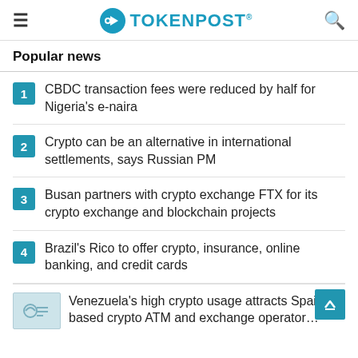TOKENPOST
Popular news
CBDC transaction fees were reduced by half for Nigeria's e-naira
Crypto can be an alternative in international settlements, says Russian PM
Busan partners with crypto exchange FTX for its crypto exchange and blockchain projects
Brazil's Rico to offer crypto, insurance, online banking, and credit cards
Venezuela's high crypto usage attracts Spain-based crypto ATM and exchange operator…